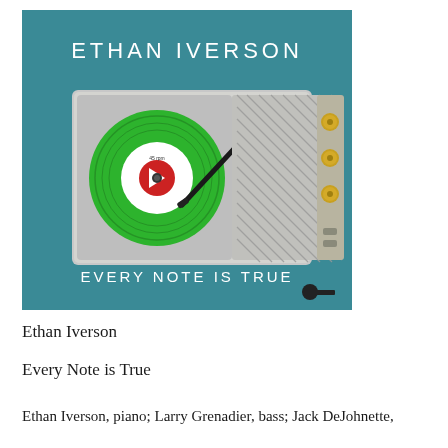[Figure (illustration): Album cover for 'Every Note is True' by Ethan Iverson. Teal/turquoise background with a vintage portable record player shown from above. A green vinyl 45 RPM record with a white label and red logo sits on the turntable. The player has a chrome/silver body with diagonal speaker grilles and yellow/gold control knobs on the right side. A black tonearm rests across the record. Text 'ETHAN IVERSON' in white at the top and 'EVERY NOTE IS TRUE' in white at the bottom.]
Ethan Iverson
Every Note is True
Ethan Iverson, piano; Larry Grenadier, bass; Jack DeJohnette,